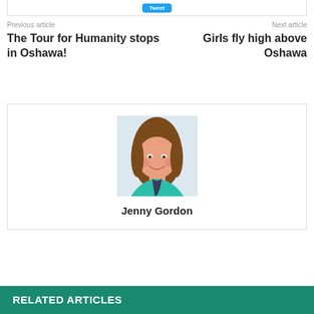Previous article
Next article
The Tour for Humanity stops in Oshawa!
Girls fly high above Oshawa
[Figure (photo): Headshot photo of Jenny Gordon, a young woman with long brown hair, smiling, wearing a teal top]
Jenny Gordon
RELATED ARTICLES